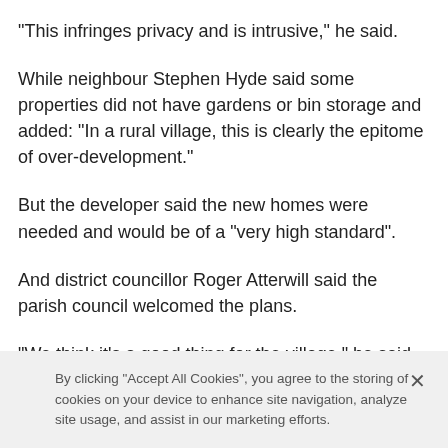"This infringes privacy and is intrusive," he said.
While neighbour Stephen Hyde said some properties did not have gardens or bin storage and added: "In a rural village, this is clearly the epitome of over-development."
But the developer said the new homes were needed and would be of a "very high standard".
And district councillor Roger Atterwill said the parish council welcomed the plans.
"We think it's a good thing for the village," he said.
By clicking "Accept All Cookies", you agree to the storing of cookies on your device to enhance site navigation, analyze site usage, and assist in our marketing efforts.